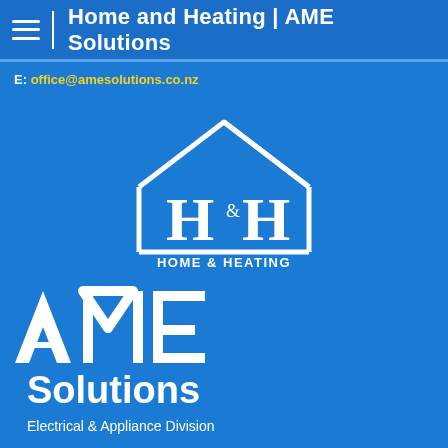Home and Heating | AME Solutions
E: office@amesolutions.co.nz
[Figure (logo): H&H Home & Heating logo — white house outline with H&H initials and text HOME & HEATING on blue background]
[Figure (logo): AME Solutions logo — white stylized AME letters with Solutions and Electrical & Appliance Division text on blue background]
[Figure (logo): Partial third logo visible at bottom of page on blue background]